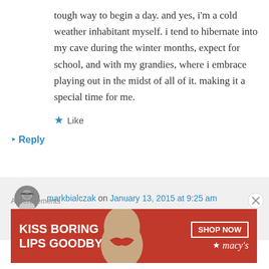tough way to begin a day. and yes, i'm a cold weather inhabitant myself. i tend to hibernate into my cave during the winter months, expect for school, and with my grandies, where i embrace playing out in the midst of all of it. making it a special time for me.
★ Like
↳ Reply
markbialczak on January 13, 2015 at 9:25 am
The grandies warm everything, don't they,
Advertisements
[Figure (illustration): Ad banner: Kiss Boring Lips Goodbye - Shop Now - Macy's, with woman's face showing lips]